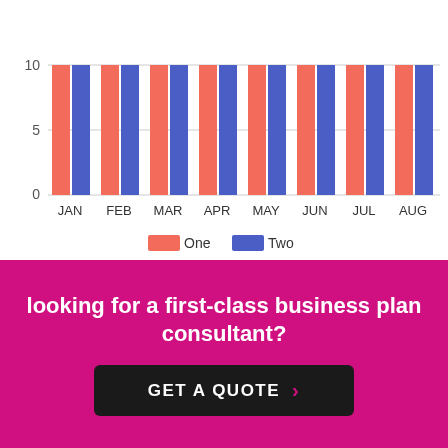[Figure (grouped-bar-chart): ]
looking for a first-class business plan consultant?
GET A QUOTE ›